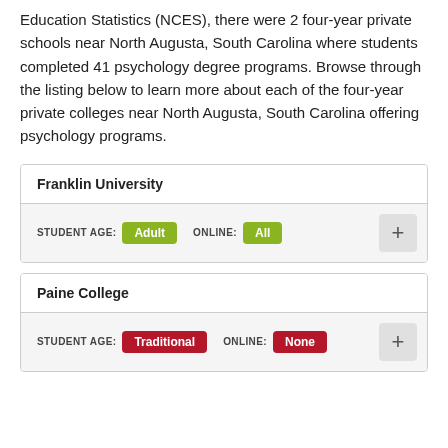Education Statistics (NCES), there were 2 four-year private schools near North Augusta, South Carolina where students completed 41 psychology degree programs. Browse through the listing below to learn more about each of the four-year private colleges near North Augusta, South Carolina offering psychology programs.
| School | Student Age | Online |
| --- | --- | --- |
| Franklin University | Adult | All |
| Paine College | Traditional | None |
Franklin University — STUDENT AGE: Adult | ONLINE: All
Paine College — STUDENT AGE: Traditional | ONLINE: None